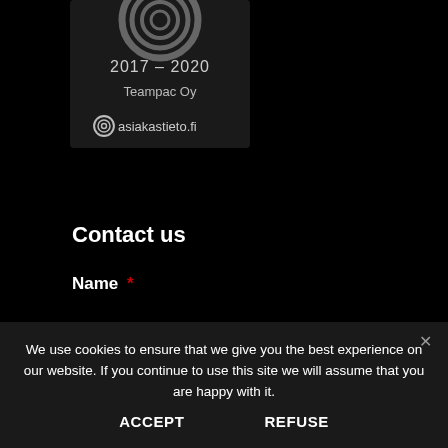[Figure (logo): Dark badge/certificate image showing concentric circles logo, years '2017 – 2020', 'Teampac Oy', and 'asiakastieto.fi' with target icon]
Contact us
Name *
We use cookies to ensure that we give you the best experience on our website. If you continue to use this site we will assume that you are happy with it.
ACCEPT
REFUSE